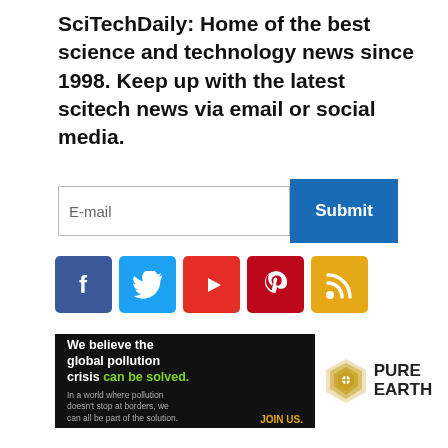SciTechDaily: Home of the best science and technology news since 1998. Keep up with the latest scitech news via email or social media.
[Figure (screenshot): Email subscription input box with 'E-mail' placeholder and a blue 'Submit' button]
[Figure (infographic): Row of social media icons: Facebook (blue), Twitter (light blue), YouTube (red), Pinterest (red), RSS feed (orange)]
[Figure (infographic): Pure Earth advertisement banner: black left panel with text 'We believe the global pollution crisis can be solved.' and white right panel with Pure Earth diamond logo]
POPULAR ARTICLES
[Figure (photo): Dark image with green glowing biological/scientific element]
[Figure (screenshot): Search ad widget with 'Search for' header, listing: 1. SYMPTOMS OF LONG COVID, 2. SAFETY MEASURES POST COVID-19, footer: Ad | Cellphone Guru]